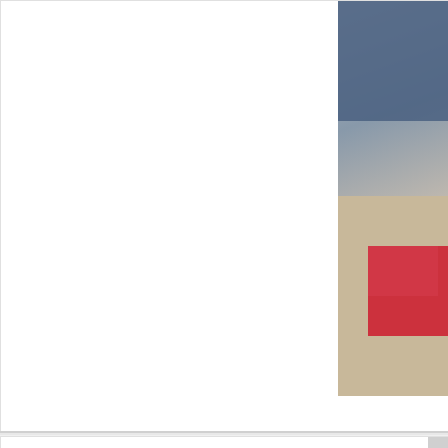[Figure (photo): Partial view of a product card showing a photo on the right side with a person wearing a red, white, and blue sweater on a sandy background. The top portion of the card is mostly white/blank.]
Benetton, Short Sweater D
[Figure (photo): Bottom product card, mostly white with a partial photo visible at the right edge.]